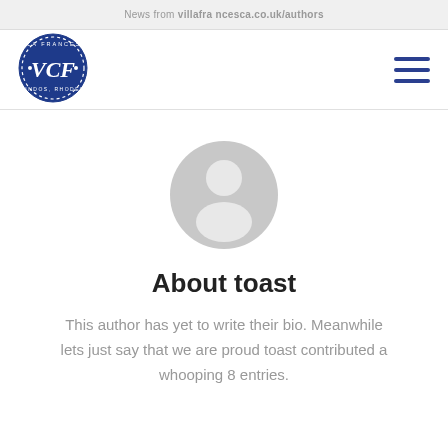News from villa francesca . co . uk/authors
[Figure (logo): Villa Francesca circular logo with VCF initials and text VILLA FRANCESCA LINDOS, RHODES in a dark blue circle]
[Figure (illustration): Generic grey user avatar silhouette icon]
About toast
This author has yet to write their bio. Meanwhile lets just say that we are proud toast contributed a whooping 8 entries.